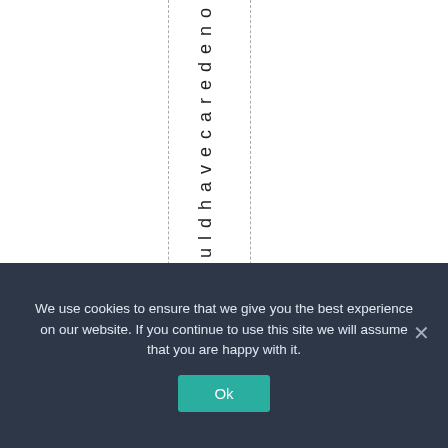youldhavecaredeno
We use cookies to ensure that we give you the best experience on our website. If you continue to use this site we will assume that you are happy with it.
Ok